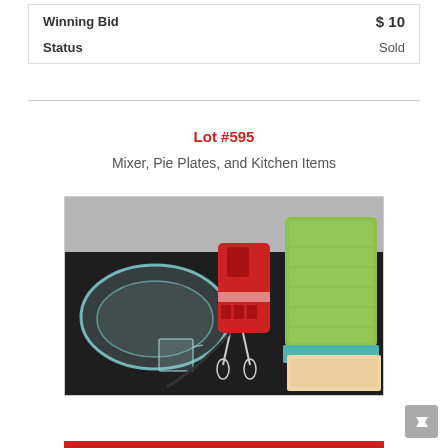| Field | Value |
| --- | --- |
| Winning Bid | $ 10 |
| Status | Sold |
Lot #595
Mixer, Pie Plates, and Kitchen Items
[Figure (photo): Photo of kitchen items on a dark surface: a glass pie plate, a small glass measuring cup, a red hand mixer with cord, a folded yellow-green towel, a teal cloth, and a cutting board.]